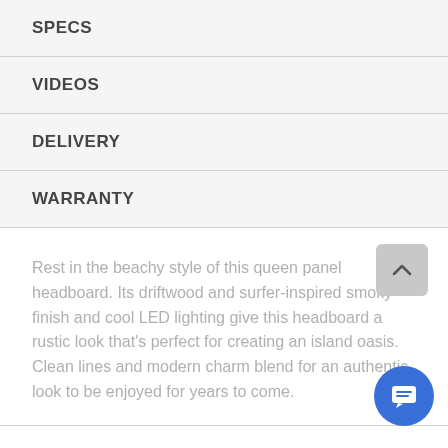SPECS
VIDEOS
DELIVERY
WARRANTY
Rest in the beachy style of this queen panel headboard. Its driftwood and surfer-inspired smoky finish and cool LED lighting give this headboard a rustic look that's perfect for creating an island oasis. Clean lines and modern charm blend for an authentic look to be enjoyed for years to come.
FEATURES
Headboard only